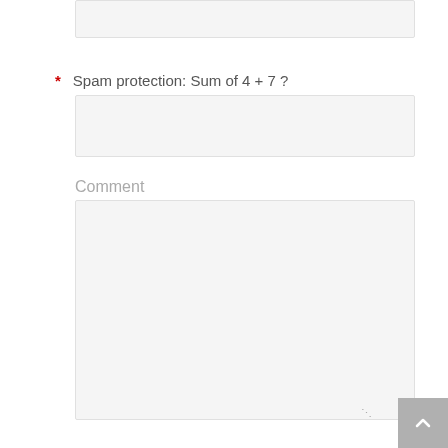Spam protection: Sum of 4 + 7 ?
Comment